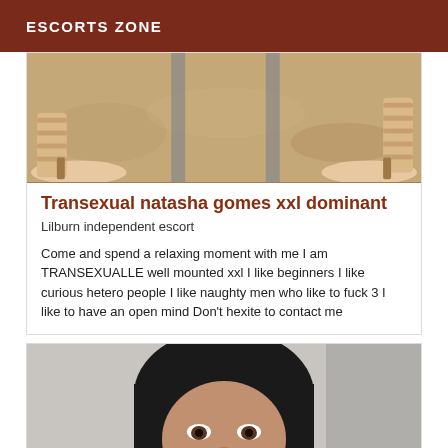ESCORTS ZONE
[Figure (photo): Close-up photo of two feet wearing beige strappy high-heel sandals on a marble/stone floor with table legs visible in background]
Transexual natasha gomes xxl dominant
Lilburn independent escort
Come and spend a relaxing moment with me I am TRANSEXUALLE well mounted xxl I like beginners I like curious hetero people I like naughty men who like to fuck 3 I like to have an open mind Don't hexite to contact me
[Figure (photo): Portrait photo of a woman with dark black straight hair and bangs, looking at the camera]